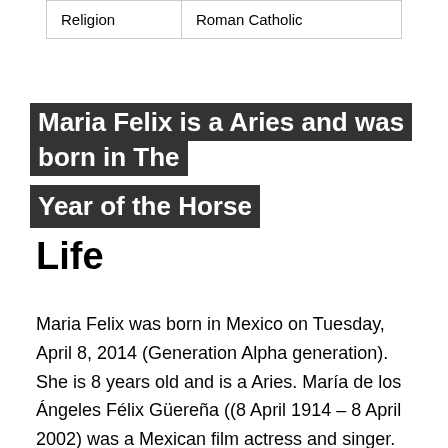| Religion | Roman Catholic |
Maria Felix is a Aries and was born in The Year of the Horse
Life
Maria Felix was born in Mexico on Tuesday, April 8, 2014 (Generation Alpha generation). She is 8 years old and is a Aries. María de los Ángeles Félix Güereña ((8 April 1914 – 8 April 2002) was a Mexican film actress and singer. She is considered one of the most important female figures of the Golden Age of Mexican cinema. Along with Pedro Armendáriz and Dolores del Río, she was one of the most successful figures of the Latin American cinema in the 1940s